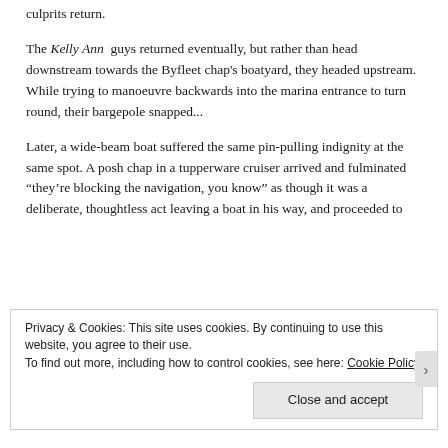culprits return.
The Kelly Ann guys returned eventually, but rather than head downstream towards the Byfleet chap's boatyard, they headed upstream. While trying to manoeuvre backwards into the marina entrance to turn round, their bargepole snapped...
Later, a wide-beam boat suffered the same pin-pulling indignity at the same spot. A posh chap in a tupperware cruiser arrived and fulminated “they’re blocking the navigation, you know” as though it was a deliberate, thoughtless act leaving a boat in his way, and proceeded to
Privacy & Cookies: This site uses cookies. By continuing to use this website, you agree to their use.
To find out more, including how to control cookies, see here: Cookie Policy
Close and accept